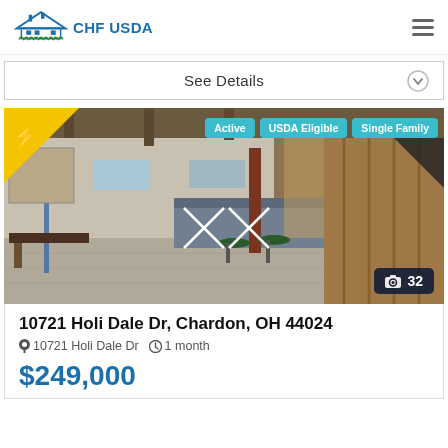CHF USDA
See Details
[Figure (photo): Interior photo of a property showing a workshop/kitchen area with bar stools and wood-paneled walls. Status tags: Active, USDA Eligible, Single Family. Lightning bolt badge in top-left corner. Photo count badge showing camera icon and 32.]
10721 Holi Dale Dr, Chardon, OH 44024
10721 Holi Dale Dr   1 month
$249,000